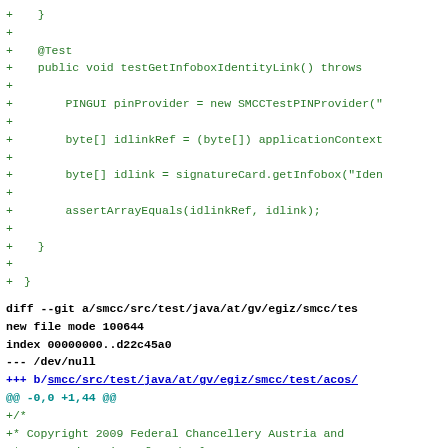+ }
+
+ @Test
+ public void testGetInfoboxIdentityLink() throws
+
+     PINGUI pinProvider = new SMCCTestPINProvider("
+
+     byte[] idlinkRef = (byte[]) applicationContext
+
+     byte[] idlink = signatureCard.getInfobox("Iden
+
+     assertArrayEquals(idlinkRef, idlink);
+
+ }
+
+}
diff --git a/smcc/src/test/java/at/gv/egiz/smcc/tes
new file mode 100644
index 00000000..d22c45a0
--- /dev/null
+++ b/smcc/src/test/java/at/gv/egiz/smcc/test/acos/
@@ -0,0 +1,44 @@
+/*
+* Copyright 2009 Federal Chancellery Austria and
+* Graz University of Technology
+*
+* Licensed under the Apache License, Version 2.0 (
+* you may not use this file except in compliance w
+* You may obtain a copy of the License at